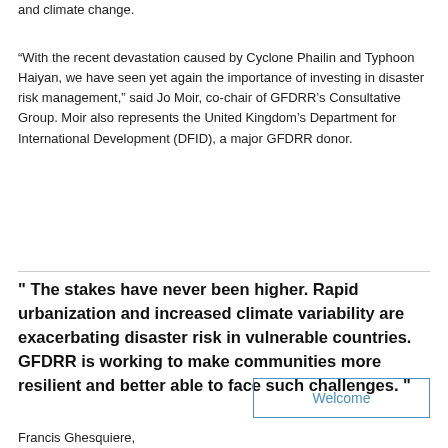and climate change.
“With the recent devastation caused by Cyclone Phailin and Typhoon Haiyan, we have seen yet again the importance of investing in disaster risk management,” said Jo Moir, co-chair of GFDRR’s Consultative Group. Moir also represents the United Kingdom’s Department for International Development (DFID), a major GFDRR donor.
" The stakes have never been higher. Rapid urbanization and increased climate variability are exacerbating disaster risk in vulnerable countries. GFDRR is working to make communities more resilient and better able to face such challenges. "
Francis Ghesquiere,